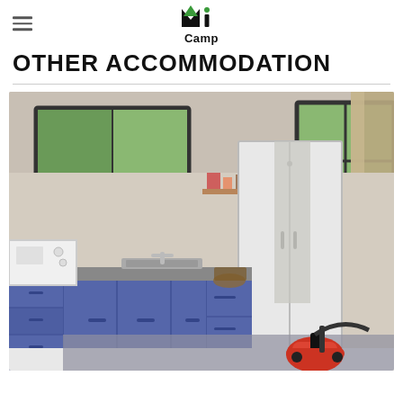MiCamp logo with hamburger menu
OTHER ACCOMMODATION
[Figure (photo): Interior photo of a studio accommodation unit showing a kitchenette with blue cabinets, stainless steel sink, white cupboard/wardrobe, windows with curtains showing trees outside, and a red/black vacuum cleaner on the floor.]